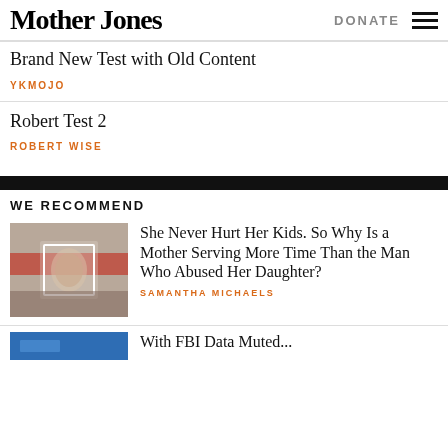Mother Jones | DONATE
Brand New Test with Old Content
YKMOJO
Robert Test 2
ROBERT WISE
WE RECOMMEND
[Figure (photo): Hands holding a photograph with a red stripe, showing a child's image]
She Never Hurt Her Kids. So Why Is a Mother Serving More Time Than the Man Who Abused Her Daughter?
SAMANTHA MICHAELS
[Figure (photo): Partial blue image at bottom]
With FBI Data Muted...